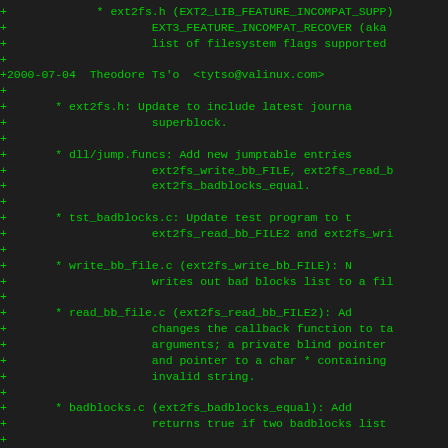+ * ext2fs.h (EXT2_LIB_FEATURE_INCOMPAT_SUPP)
+             EXT3_FEATURE_INCOMPAT_RECOVER (aka
+             list of filesystem flags supported
+
+2000-07-04  Theodore Ts'o  <tytso@valinux.com>
+
+       * ext2fs.h: Update to include latest journa
+             superblock.
+
+       * dll/jump.funcs: Add new jumptable entries
+             ext2fs_write_bb_FILE, ext2fs_read_b
+             ext2fs_badblocks_equal.
+
+       * tst_badblocks.c: Update test program to t
+             ext2fs_read_bb_FILE2 and ext2fs_wri
+
+       * write_bb_file.c (ext2fs_write_bb_FILE): N
+             writes out bad blocks list to a fil
+
+       * read_bb_file.c (ext2fs_read_bb_FILE2): Ad
+             changes the callback function to ta
+             arguments; a private blind pointer
+             and pointer to a char * containing
+             invalid string.
+
+       * badblocks.c (ext2fs_badblocks_equal): Add
+             returns true if two badblocks list
+
+       * Makefile.in: Remove explicit link of -lc
+             (It shouldn't be necessary, and is